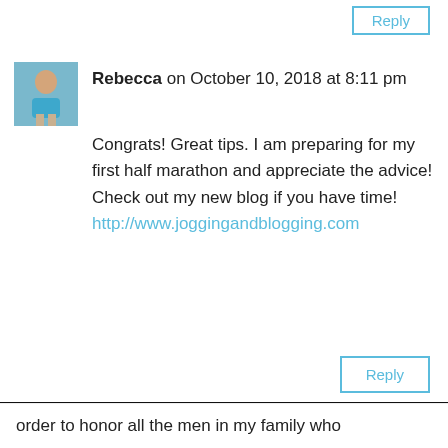Reply
[Figure (photo): Avatar photo of Rebecca, a woman in a blue tank top]
Rebecca on October 10, 2018 at 8:11 pm
Congrats! Great tips. I am preparing for my first half marathon and appreciate the advice! Check out my new blog if you have time!
http://www.joggingandblogging.com
Reply
Privacy & Cookies: This site uses cookies. By continuing to use this website, you agree to their use.
To find out more, including how to control cookies, see here: Cookie Policy
Close and accept
order to honor all the men in my family who